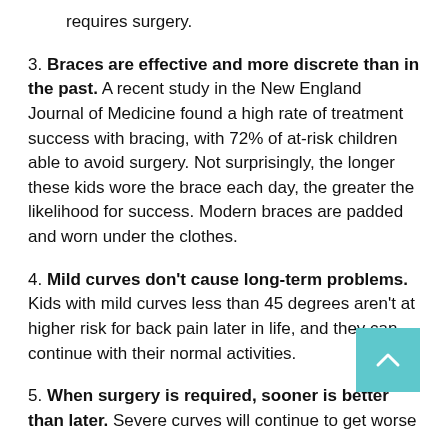requires surgery.
3. Braces are effective and more discrete than in the past. A recent study in the New England Journal of Medicine found a high rate of treatment success with bracing, with 72% of at-risk children able to avoid surgery. Not surprisingly, the longer these kids wore the brace each day, the greater the likelihood for success. Modern braces are padded and worn under the clothes.
4. Mild curves don't cause long-term problems. Kids with mild curves less than 45 degrees aren't at higher risk for back pain later in life, and they can continue with their normal activities.
5. When surgery is required, sooner is better than later. Severe curves will continue to get worse